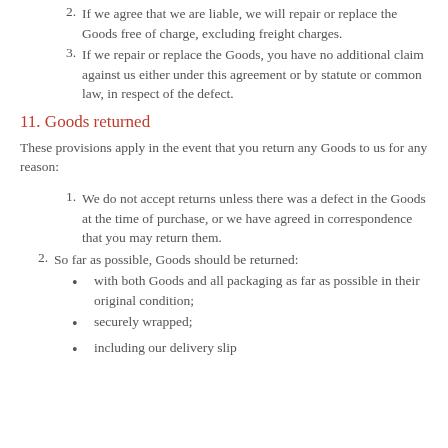2. If we agree that we are liable, we will repair or replace the Goods free of charge, excluding freight charges.
3. If we repair or replace the Goods, you have no additional claim against us either under this agreement or by statute or common law, in respect of the defect.
11. Goods returned
These provisions apply in the event that you return any Goods to us for any reason:
1. We do not accept returns unless there was a defect in the Goods at the time of purchase, or we have agreed in correspondence that you may return them.
2. So far as possible, Goods should be returned:
with both Goods and all packaging as far as possible in their original condition;
securely wrapped;
including our delivery slip